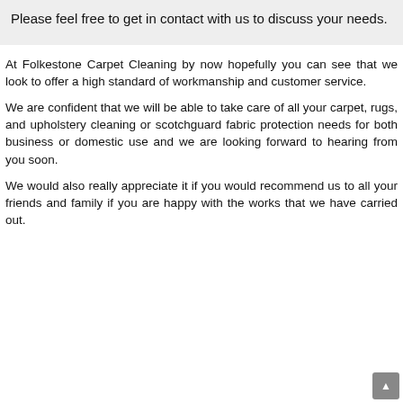Please feel free to get in contact with us to discuss your needs.
At Folkestone Carpet Cleaning by now hopefully you can see that we look to offer a high standard of workmanship and customer service.
We are confident that we will be able to take care of all your carpet, rugs, and upholstery cleaning or scotchguard fabric protection needs for both business or domestic use and we are looking forward to hearing from you soon.
We would also really appreciate it if you would recommend us to all your friends and family if you are happy with the works that we have carried out.